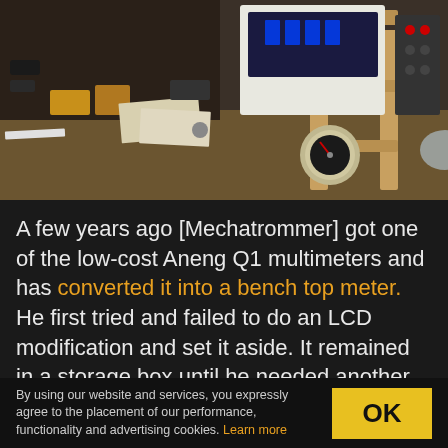[Figure (photo): Workbench with electronic equipment including a multimeter mounted on a wooden stand, various components, tools, and measuring instruments scattered on the bench surface.]
A few years ago [Mechatrommer] got one of the low-cost Aneng Q1 multimeters and has converted it into a bench top meter. He first tried and failed to do an LCD modification and set it aside. It remained in a storage box until he needed another meter to repair his rubidium frequency standard. Finding that off-the-shelf bench multimeters were literally off-the-shelf — they were too deep for his bench — he decided to take matters into his own
By using our website and services, you expressly agree to the placement of our performance, functionality and advertising cookies. Learn more